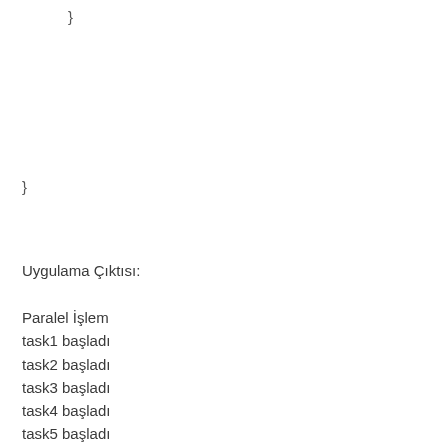}
}
Uygulama Çıktısı:
Paralel İşlem
task1 başladı
task2 başladı
task3 başladı
task4 başladı
task5 başladı
task1 bitti - 1 sn geçti.
task2 bitti - 2 sn geçti.
task3 bitti - 3 sn geçti.